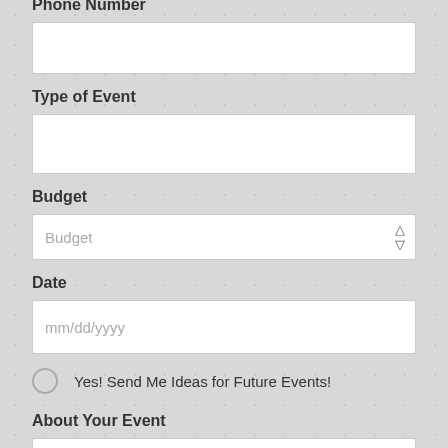Phone Number
(text input field - phone number)
Type of Event
(text input field - type of event)
Budget
Budget (dropdown select)
Date
mm/dd/yyyy (date input)
Yes! Send Me Ideas for Future Events!
About Your Event
Tell us what you are seeking and we will